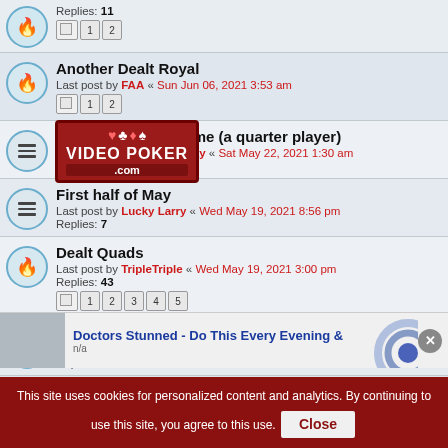Replies: 11 [pages 1 2]
Another Dealt Royal — Last post by FAA « Sun Jun 06, 2021 3:53 am — Replies: [pages 1 2]
[Figure (logo): VideoPoker.com watermark logo with card suits]
Best week ever for me (a quarter player) — Last post by olds442jetaway « Sat May 22, 2021 1:30 am — Replies: 5
First half of May — Last post by Lucky Larry « Wed May 19, 2021 8:56 pm — Replies: 7
Dealt Quads — Last post by TripleTriple « Wed May 19, 2021 3:00 pm — Replies: 43 [pages 1 2 3 4 5]
Mohegan Sun Jackpot — Last post by olds442jetaway « Fri May 14, 2021 5:33 pm — Replies: 9
Doctors Stunned - Do This Every Evening & n/a
This site uses cookies for personalized content and analytics. By continuing to use this site, you agree to this use. Close